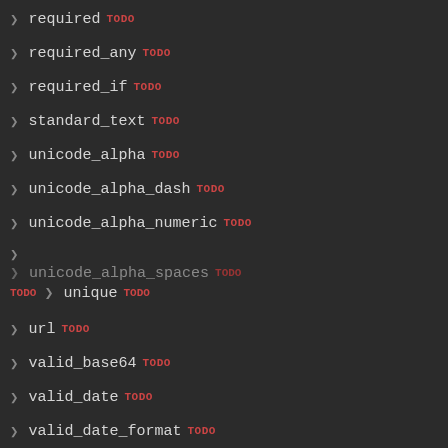required TODO
required_any TODO
required_if TODO
standard_text TODO
unicode_alpha TODO
unicode_alpha_dash TODO
unicode_alpha_numeric TODO
(collapsed arrow)
unicode_alpha_spaces TODO / unique TODO
url TODO
valid_base64 TODO
valid_date TODO
valid_date_format TODO
valid_email TODO
valid_emails TODO
valid_hostname TODO
valid_image TODO
valid_ip TODO
valid_phone TODO
valid_url TODO
xss_clean TODO